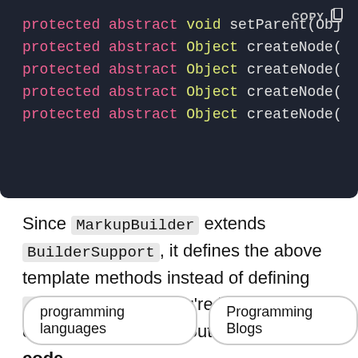[Figure (screenshot): Dark-themed code block showing Java abstract method signatures: protected abstract void setParent(Obj...), and four lines of protected abstract Object createNode(...]
Since MarkupBuilder extends BuilderSupport, it defines the above template methods instead of defining invokeMethod. If you're interested in diving deeper, check out the source code.
programming languages
Programming Blogs